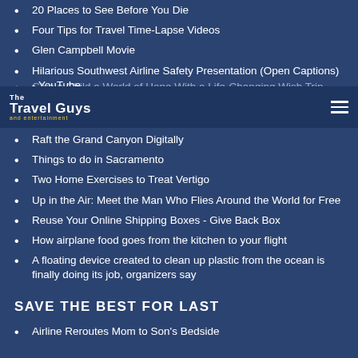20 Places to See Before You Die
Four Tips for Travel Time-Lapse Videos
Glen Campbell Movie
Hilarious Southwest Airline Safety Presentation (Open Captions) - YouTube
Give a Child a World of Hope With a Life-Changing Wish Trip
Travel Tips: How to Take Better Smartphone Photos
[Figure (logo): The Travel Guys and entertainment logo with hamburger menu icon on dark navy navigation bar]
Raft the Grand Canyon Digitally
Things to do in Sacramento
Two Home Exercises to Treat Vertigo
Up in the Air: Meet the Man Who Flies Around the World for Free
Reuse Your Online Shipping Boxes - Give Back Box
How airplane food goes from the kitchen to your flight
A floating device created to clean up plastic from the ocean is finally doing its job, organizers say
SAVE THE BEST FOR LAST
Airline Reroutes Mom to Son's Bedside